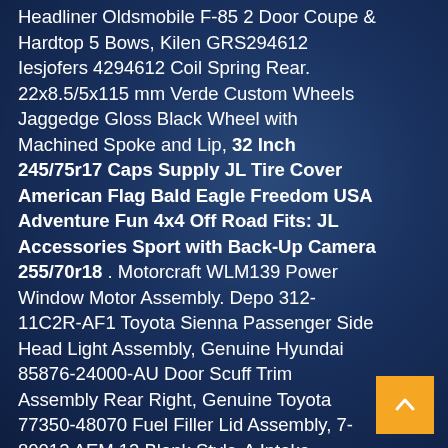Headliner Oldsmobile F-85 2 Door Coupe & Hardtop 5 Bows, Kilen GRS294612 Iesjofers 4294612 Coil Spring Rear. 22x8.5/5x115 mm Verde Custom Wheels Jaggedge Gloss Black Wheel with Machined Spoke and Lip, 32 Inch 245/75r17 Caps Supply JL Tire Cover American Flag Bald Eagle Freedom USA Adventure Fun 4x4 Off Road Fits: JL Accessories Sport with Back-Up Camera 255/70r18. Motorcraft WLM139 Power Window Motor Assembly. Depo 312-11C2R-AF1 Toyota Sienna Passenger Side Head Light Assembly, Genuine Hyundai 85876-24000-AU Door Scuff Trim Assembly Rear Right, Genuine Toyota 77350-48070 Fuel Filler Lid Assembly, 7-80012 AEM 12 Blank Style-A Intake